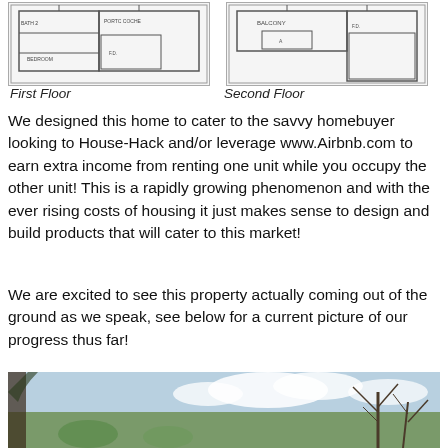[Figure (engineering-diagram): First floor plan blueprint showing PORTC COCHE and BEDROOM labels]
First Floor
[Figure (engineering-diagram): Second floor plan blueprint showing BALCONY label]
Second Floor
We designed this home to cater to the savvy homebuyer looking to House-Hack and/or leverage www.Airbnb.com to earn extra income from renting one unit while you occupy the other unit! This is a rapidly growing phenomenon and with the ever rising costs of housing it just makes sense to design and build products that will cater to this market!
We are excited to see this property actually coming out of the ground as we speak, see below for a current picture of our progress thus far!
[Figure (photo): Construction progress photo showing trees and sky at a building site]